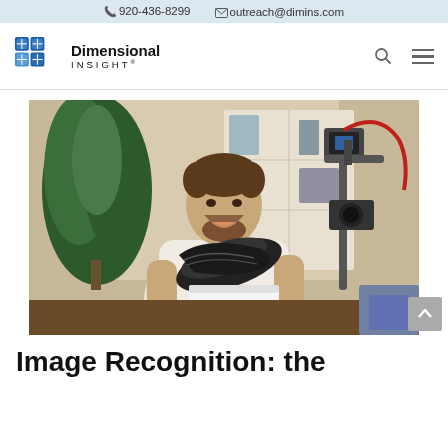920-436-8299   outreach@dimins.com
[Figure (logo): Dimensional Insight logo with blue cube graphic and company name]
[Figure (photo): Man smiling and holding a black sneaker shoe up toward camera, with a camera/filming setup on the right, shelves and plants in background - appearing to do an unboxing video]
Image Recognition: the